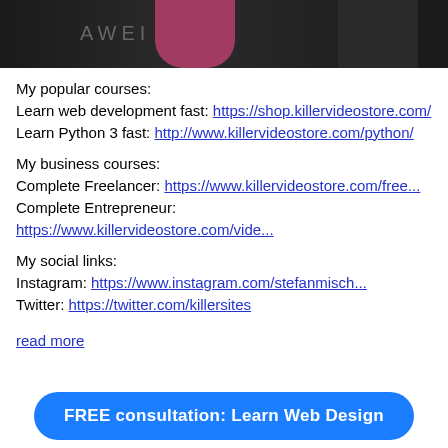[Figure (photo): Top portion of a photo showing a person near a Huawei logo, with pink/red clothing visible, dark background]
My popular courses:
Learn web development fast: https://shop.killervideostore.com/
Learn Python 3 fast: http://www.killervideostore.com/python/
My business courses:
Complete Freelancer: https://www.killervideostore.com/free...
Complete Entrepreneur: https://www.killervideostore.com/vide...
My social links:
Instagram: https://www.instagram.com/stefanmisch...
Twitter: https://twitter.com/killersites
read more
FREE consultation: Learn Web Design